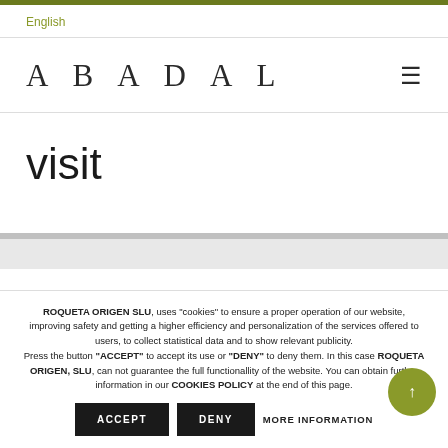English
ABADAL
visit
ROQUETA ORIGEN SLU, uses "cookies" to ensure a proper operation of our website, improving safety and getting a higher efficiency and personalization of the services offered to users, to collect statistical data and to show relevant publicity. Press the button "ACCEPT" to accept its use or "DENY" to deny them. In this case ROQUETA ORIGEN, SLU, can not guarantee the full functionallity of the website. You can obtain further information in our COOKIES POLICY at the end of this page.
ACCEPT   DENY   MORE INFORMATION